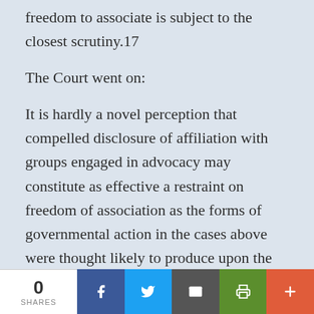freedom to associate is subject to the closest scrutiny.17
The Court went on:
It is hardly a novel perception that compelled disclosure of affiliation with groups engaged in advocacy may constitute as effective a restraint on freedom of association as the forms of governmental action in the cases above were thought likely to produce upon the particular constitutional rights there involved. This Court has recognized the
0 SHARES | Facebook | Twitter | Email | Print | More